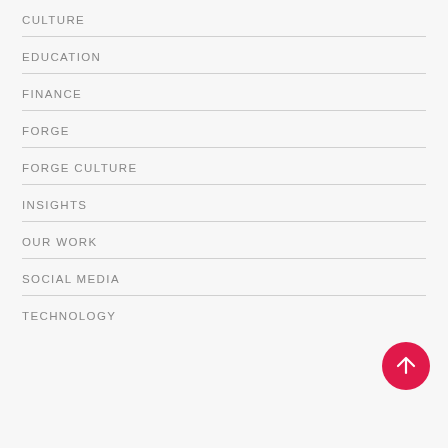CULTURE
EDUCATION
FINANCE
FORGE
FORGE CULTURE
INSIGHTS
OUR WORK
SOCIAL MEDIA
TECHNOLOGY